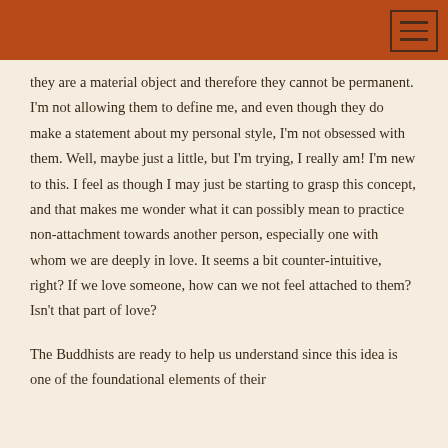they are a material object and therefore they cannot be permanent. I'm not allowing them to define me, and even though they do make a statement about my personal style, I'm not obsessed with them. Well, maybe just a little, but I'm trying, I really am! I'm new to this. I feel as though I may just be starting to grasp this concept, and that makes me wonder what it can possibly mean to practice non-attachment towards another person, especially one with whom we are deeply in love. It seems a bit counter-intuitive, right? If we love someone, how can we not feel attached to them? Isn't that part of love?
The Buddhists are ready to help us understand since this idea is one of the foundational elements of their